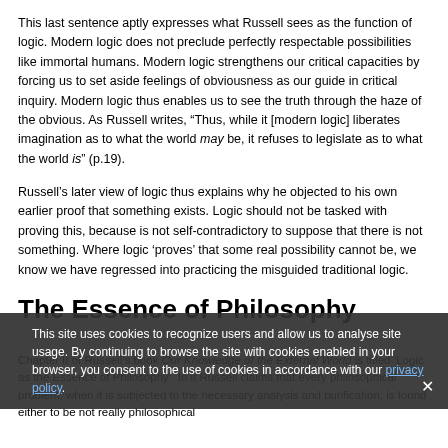This last sentence aptly expresses what Russell sees as the function of logic. Modern logic does not preclude perfectly respectable possibilities like immortal humans. Modern logic strengthens our critical capacities by forcing us to set aside feelings of obviousness as our guide in critical inquiry. Modern logic thus enables us to see the truth through the haze of the obvious. As Russell writes, “Thus, while it [modern logic] liberates imagination as to what the world may be, it refuses to legislate as to what the world is” (p.19).
Russell’s later view of logic thus explains why he objected to his own earlier proof that something exists. Logic should not be tasked with proving this, because is not self-contradictory to suppose that there is not something. Where logic ‘proves’ that some real possibility cannot be, we know we have regressed into practicing the misguided traditional logic.
The Essence of Philosophy
Chapter II of Russell’s book Our Knowledge of the External World is titled ‘Logic as the Essence of Philosophy’. In it Russell claims that every philosophical problem, when it is subjected to the necessary analysis and purification, is found either to be not really philosophical
This site uses cookies to recognize users and allow us to analyse site usage. By continuing to browse the site with cookies enabled in your browser, you consent to the use of cookies in accordance with our privacy policy.